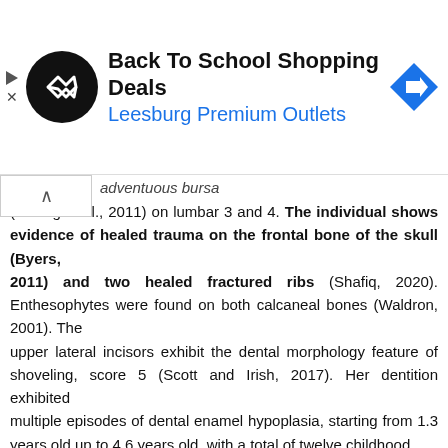[Figure (other): Advertisement banner: Back To School Shopping Deals at Leesburg Premium Outlets with logo circle and navigation arrow icon]
adventuous bursa (Kwong et al., 2011) on lumbar 3 and 4. The individual shows evidence of healed trauma on the frontal bone of the skull (Byers, 2011) and two healed fractured ribs (Shafiq, 2020). Enthesophytes were found on both calcaneal bones (Waldron, 2001). The upper lateral incisors exhibit the dental morphology feature of shoveling, score 5 (Scott and Irish, 2017). Her dentition exhibited multiple episodes of dental enamel hypoplasia, starting from 1.3 years old up to 4.6 years old, with a total of twelve childhood growth disturbances (correlating to the ages of 1.3/1.5, 1.7/1.8, 1.9/2.0, 2.0/2.3, 2.6/2.8, 2.7/3.0, 2.8/3.1, 3.1/3.4, 3.5/3.7, 3.7/ 4.2, and 4.0/4.4-4.6 years old) (Hillson, 2014). She was discovered facedown with her limbs splayed,